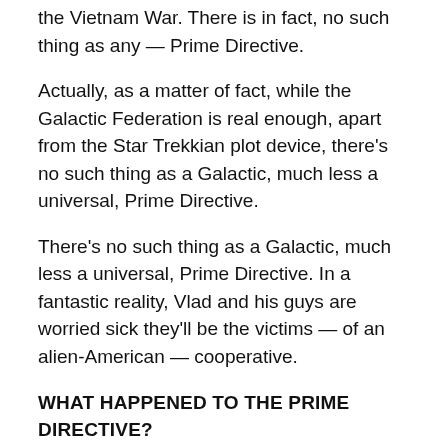the Vietnam War. There is in fact, no such thing as any — Prime Directive.
Actually, as a matter of fact, while the Galactic Federation is real enough, apart from the Star Trekkian plot device, there's no such thing as a Galactic, much less a universal, Prime Directive.
There's no such thing as a Galactic, much less a universal, Prime Directive. In a fantastic reality, Vlad and his guys are worried sick they'll be the victims — of an alien-American — cooperative.
WHAT HAPPENED TO THE PRIME DIRECTIVE?
In Star Trek, Starfleet's guiding principle directs crew members not at all to interfere with the natural development of any, alien, civilizations. Whatever